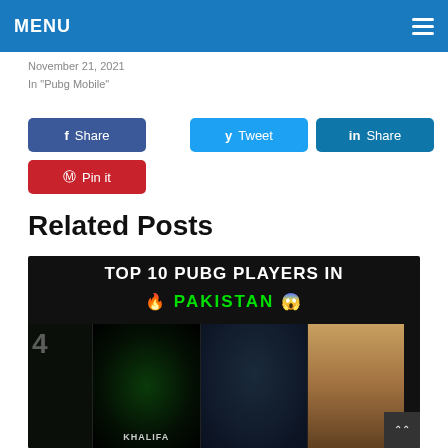MENU
November 21, 2021
In "Pubg Mobile"
f Share  y Tweet  in Share  ® Pin it
Related Posts
[Figure (photo): Thumbnail image for a PUBG Mobile related post titled 'TOP 10 PUBG PLAYERS IN PAKISTAN' showing player avatars and a real person photo on dark background]